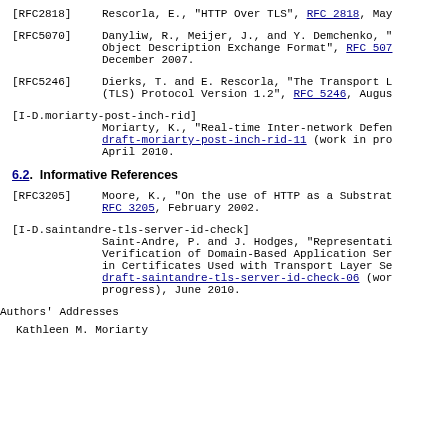[RFC2818]   Rescorla, E., "HTTP Over TLS", RFC 2818, May
[RFC5070]   Danyliw, R., Meijer, J., and Y. Demchenko, "Object Description Exchange Format", RFC 507, December 2007.
[RFC5246]   Dierks, T. and E. Rescorla, "The Transport L (TLS) Protocol Version 1.2", RFC 5246, Augus
[I-D.moriarty-post-inch-rid] Moriarty, K., "Real-time Inter-network Defen draft-moriarty-post-inch-rid-11 (work in pro April 2010.
6.2. Informative References
[RFC3205]   Moore, K., "On the use of HTTP as a Substrat RFC 3205, February 2002.
[I-D.saintandre-tls-server-id-check] Saint-Andre, P. and J. Hodges, "Representati Verification of Domain-Based Application Ser in Certificates Used with Transport Layer Se draft-saintandre-tls-server-id-check-06 (wor progress), June 2010.
Authors' Addresses
Kathleen M. Moriarty